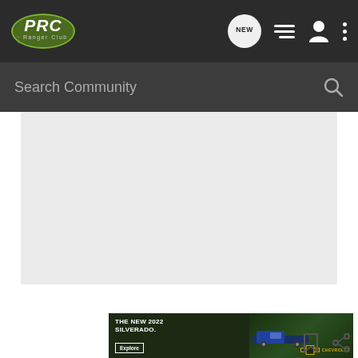[Figure (screenshot): PRC Ranger Club community forum website screenshot showing navigation bar with logo, search bar, grey content area, and a Chevrolet Silverado 2022 advertisement banner at the bottom]
Search Community
THE NEW 2022 SILVERADO.
Explore
CHEVROLET